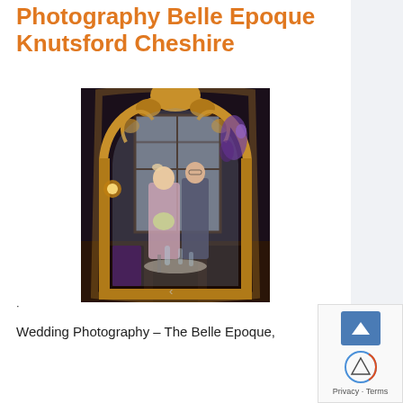Photography Belle Epoque Knutsford Cheshire
[Figure (photo): Wedding photo taken through an ornate gilded mirror frame at The Belle Epoque, Knutsford. A bride and groom are reflected or visible through the arch of the mirror, with purple flowers, dark wood chairs, and leaded windows visible in the restaurant interior.]
Wedding Photography – The Belle Epoque,